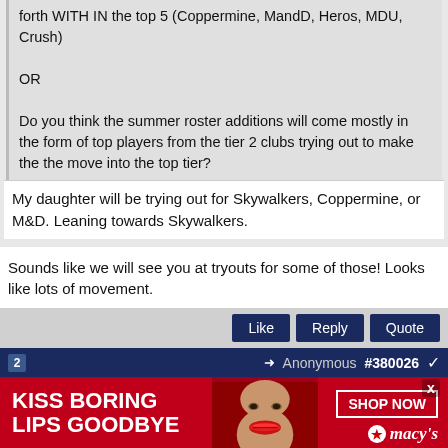forth WITH IN the top 5 (Coppermine, MandD, Heros, MDU, Crush)

OR

Do you think the summer roster additions will come mostly in the form of top players from the tier 2 clubs trying out to make the the move into the top tier?
My daughter will be trying out for Skywalkers, Coppermine, or M&D. Leaning towards Skywalkers.
Sounds like we will see you at tryouts for some of those! Looks like lots of movement.
Like  Reply  Quote
Anonymous  #380026
[Figure (infographic): Macy's advertisement banner: red background with woman's face, text 'KISS BORING LIPS GOODBYE', 'SHOP NOW' button, Macy's logo with star]